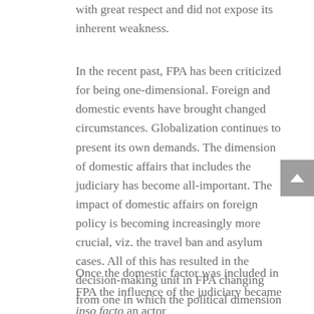with great respect and did not expose its inherent weakness.
In the recent past, FPA has been criticized for being one-dimensional. Foreign and domestic events have brought changed circumstances. Globalization continues to present its own demands. The dimension of domestic affairs that includes the judiciary has become all-important. The impact of domestic affairs on foreign policy is becoming increasingly more crucial, viz. the travel ban and asylum cases. All of this has resulted in the decision-making unit in FPA changing from one in which the political dimension was the sole actor to one incorporating other entities, and this has occurred in the context of an increasingly blurred distinction between domestic and foreign affairs.
Once the domestic factor was included in FPA the influence of the judiciary became ipso facto an actor